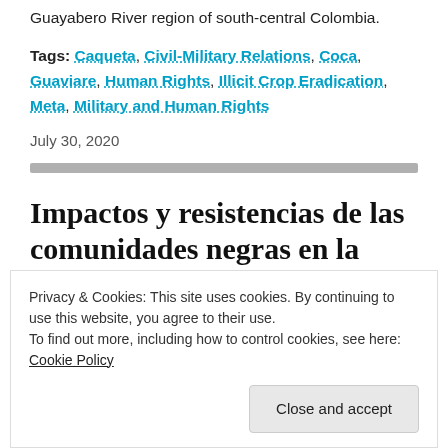Guayabero River region of south-central Colombia.
Tags: Caqueta, Civil-Military Relations, Coca, Guaviare, Human Rights, Illicit Crop Eradication, Meta, Military and Human Rights
July 30, 2020
Impactos y resistencias de las comunidades negras en la
Privacy & Cookies: This site uses cookies. By continuing to use this website, you agree to their use.
To find out more, including how to control cookies, see here: Cookie Policy
Close and accept